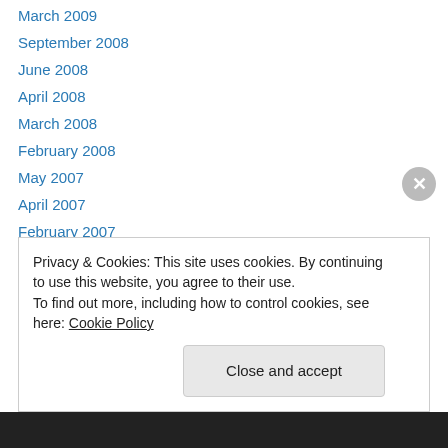March 2009
September 2008
June 2008
April 2008
March 2008
February 2008
May 2007
April 2007
February 2007
January 2007
November 2006
October 2006
September 2006
Privacy & Cookies: This site uses cookies. By continuing to use this website, you agree to their use.
To find out more, including how to control cookies, see here: Cookie Policy
Close and accept